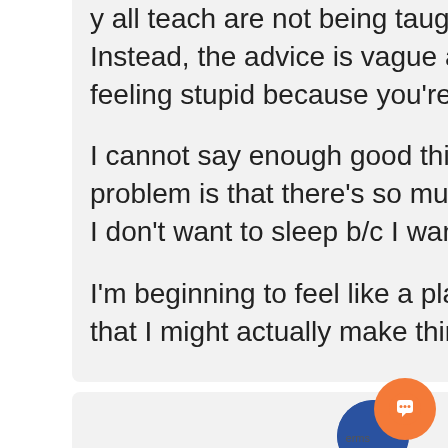y all teach are not being taught elsewhere. Instead, the advice is vague and leaves you feeling stupid because you're not figuring it out.

I cannot say enough good things...the only problem is that there's so much good stuff that I don't want to sleep b/c I want to learn it all.

I'm beginning to feel like a plan is forming and that I might actually make things work.
[Figure (illustration): Partial view of a blue circular avatar/profile picture at the bottom of the page]